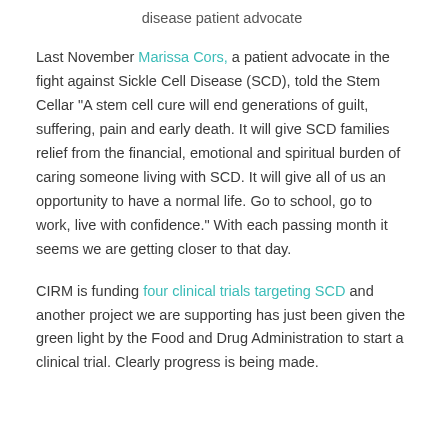disease patient advocate
Last November Marissa Cors, a patient advocate in the fight against Sickle Cell Disease (SCD), told the Stem Cellar “A stem cell cure will end generations of guilt, suffering, pain and early death. It will give SCD families relief from the financial, emotional and spiritual burden of caring someone living with SCD. It will give all of us an opportunity to have a normal life. Go to school, go to work, live with confidence.” With each passing month it seems we are getting closer to that day.
CIRM is funding four clinical trials targeting SCD and another project we are supporting has just been given the green light by the Food and Drug Administration to start a clinical trial. Clearly progress is being made.